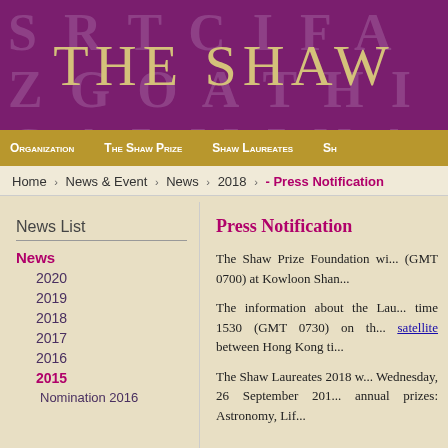[Figure (illustration): Purple banner header with decorative letter watermarks and gold text reading 'THE SHAW']
Organization | The Shaw Prize | Shaw Laureates | Sh...
Home › News & Event › News › 2018 › - Press Notification
News List
News
2020
2019
2018
2017
2016
2015
Nomination 2016
Press Notification
The Shaw Prize Foundation wi... (GMT 0700) at Kowloon Shan...
The information about the Lau... time 1530 (GMT 0730) on th... satellite between Hong Kong ti...
The Shaw Laureates 2018 w... Wednesday, 26 September 201... annual prizes: Astronomy, Lif...